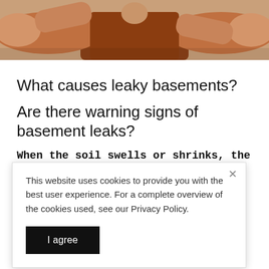[Figure (photo): Photo of a person in a brown/rust-colored sweater with arms raised in a shrugging gesture, only torso and hands visible, cropped at the shoulders.]
What causes leaky basements?
Are there warning signs of basement leaks?
When the soil swells or shrinks, the earth
This website uses cookies to provide you with the best user experience. For a complete overview of the cookies used, see our Privacy Policy.
I agree
cause leaky basements.